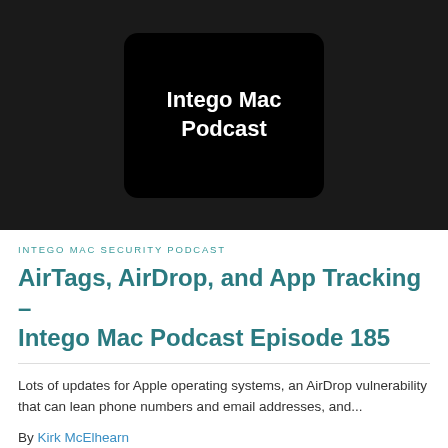[Figure (photo): Intego Mac Podcast logo image on dark background — rounded rectangle with black center showing 'Intego Mac Podcast' text in white bold font]
INTEGO MAC SECURITY PODCAST
AirTags, AirDrop, and App Tracking – Intego Mac Podcast Episode 185
Lots of updates for Apple operating systems, an AirDrop vulnerability that can lean phone numbers and email addresses, and...
By Kirk McElhearn
[Figure (photo): Two AirTag devices shown on a light background, circular white devices with Apple logo visible]